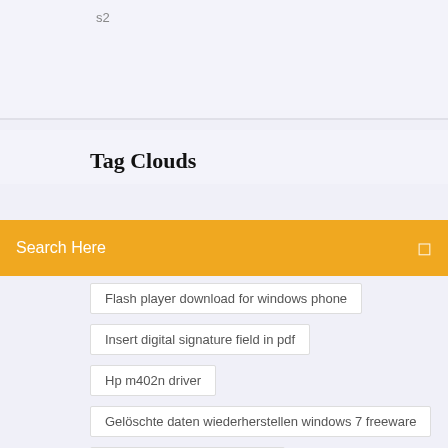s2
Tag Clouds
Search Here
Flash player download for windows phone
Insert digital signature field in pdf
Hp m402n driver
Gelöschte daten wiederherstellen windows 7 freeware
Gta v money cheat online pc
Epson stylus r290 driver windows 10
Sims 4 download free pc no origin